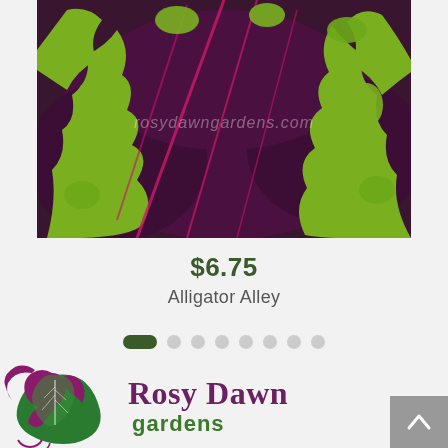[Figure (photo): Close-up photo of coleus plant leaves with deep dark purple/maroon centers and bright chartreuse green ruffled edges, with pink/magenta veins. Watermark text 'rosydawngardens.com' visible.]
$6.75
Alligator Alley
[Figure (other): Pagination dots: one active elongated dark green pill shape followed by 7 inactive grey circles]
[Figure (logo): Rosy Dawn Gardens logo: purple woman's profile silhouette with flowing hair merging into a green leaf, beside text 'Rosy Dawn' in bold purple serif font and 'gardens' in green sans-serif below]